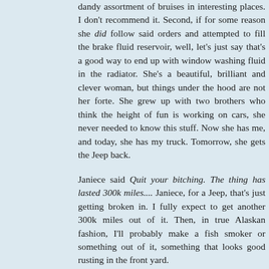dandy assortment of bruises in interesting places. I don't recommend it. Second, if for some reason she did follow said orders and attempted to fill the brake fluid reservoir, well, let's just say that's a good way to end up with window washing fluid in the radiator. She's a beautiful, brilliant and clever woman, but things under the hood are not her forte. She grew up with two brothers who think the height of fun is working on cars, she never needed to know this stuff. Now she has me, and today, she has my truck. Tomorrow, she gets the Jeep back.
Janiece said Quit your bitching. The thing has lasted 300k miles.... Janiece, for a Jeep, that's just getting broken in. I fully expect to get another 300k miles out of it. Then, in true Alaskan fashion, I'll probably make a fish smoker or something out of it, something that looks good rusting in the front yard.
And I'm with Shawn on not advertising my abilities, only for me it doesn't work. I've got a big shop, which is heated and drywalled inside. People just show up, especially in the winter, and ask me to fix things. I've done plumbing for neighbors, fixed the Scout Master's spare tire rack, and